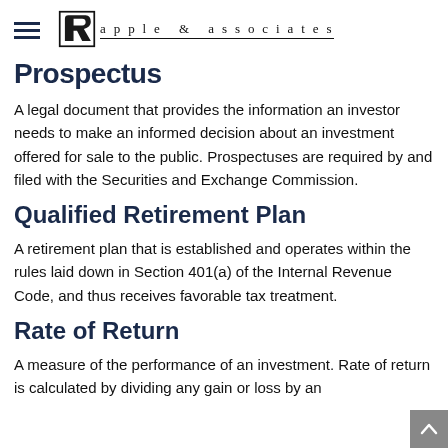apple & associates
Prospectus
A legal document that provides the information an investor needs to make an informed decision about an investment offered for sale to the public. Prospectuses are required by and filed with the Securities and Exchange Commission.
Qualified Retirement Plan
A retirement plan that is established and operates within the rules laid down in Section 401(a) of the Internal Revenue Code, and thus receives favorable tax treatment.
Rate of Return
A measure of the performance of an investment. Rate of return is calculated by dividing any gain or loss by an